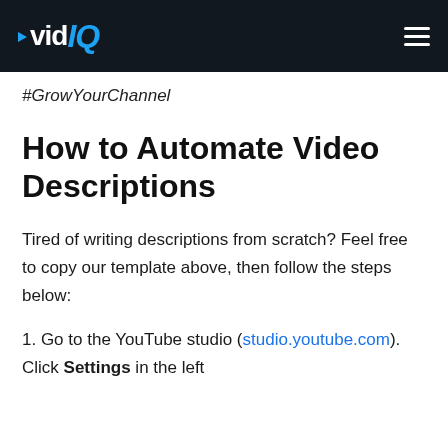vidIQ
#GrowYourChannel
How to Automate Video Descriptions
Tired of writing descriptions from scratch? Feel free to copy our template above, then follow the steps below:
1. Go to the YouTube studio (studio.youtube.com). Click Settings in the left